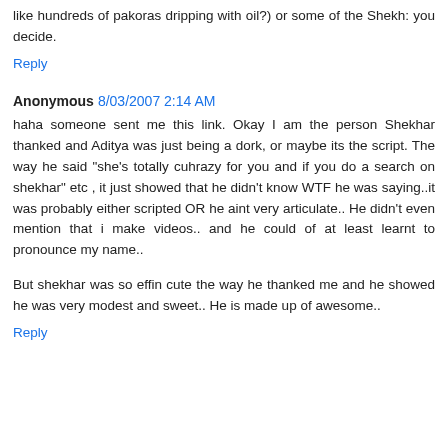like hundreds of pakoras dripping with oil?) or some of the Shekh: you decide.
Reply
Anonymous 8/03/2007 2:14 AM
haha someone sent me this link. Okay I am the person Shekhar thanked and Aditya was just being a dork, or maybe its the script. The way he said "she's totally cuhrazy for you and if you do a search on shekhar" etc , it just showed that he didn't know WTF he was saying..it was probably either scripted OR he aint very articulate.. He didn't even mention that i make videos.. and he could of at least learnt to pronounce my name..
But shekhar was so effin cute the way he thanked me and he showed he was very modest and sweet.. He is made up of awesome..
Reply